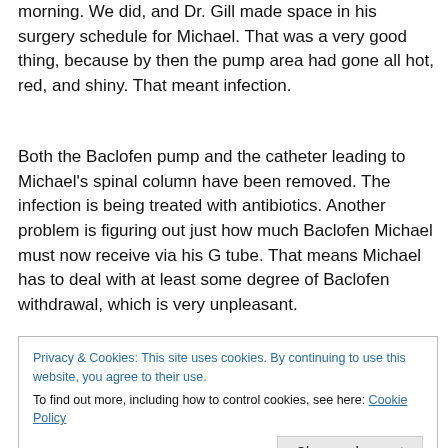morning. We did, and Dr. Gill made space in his surgery schedule for Michael. That was a very good thing, because by then the pump area had gone all hot, red, and shiny. That meant infection.
Both the Baclofen pump and the catheter leading to Michael's spinal column have been removed. The infection is being treated with antibiotics. Another problem is figuring out just how much Baclofen Michael must now receive via his G tube. That means Michael has to deal with at least some degree of Baclofen withdrawal, which is very unpleasant.
Privacy & Cookies: This site uses cookies. By continuing to use this website, you agree to their use.
To find out more, including how to control cookies, see here: Cookie Policy